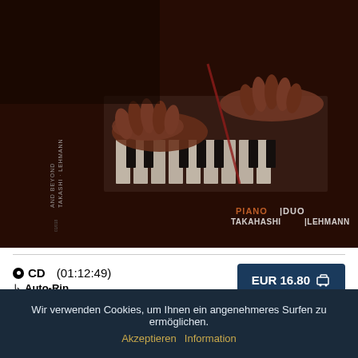[Figure (photo): CD album cover image for Piano Duo Takahashi Lehmann. Dark atmospheric photo of hands playing piano keys. The CD case is shown at an angle. Text on the cover reads 'PIANO DUO TAKAHASHI LEHMANN' in white and orange letters.]
● CD (01:12:49)
↳ Auto-Rip
EUR 16.80 🛒
[Figure (logo): PayPal logo in blue colors, partially visible in a button/box]
Wir verwenden Cookies, um Ihnen ein angenehmeres Surfen zu ermöglichen.
Akzeptieren  Information